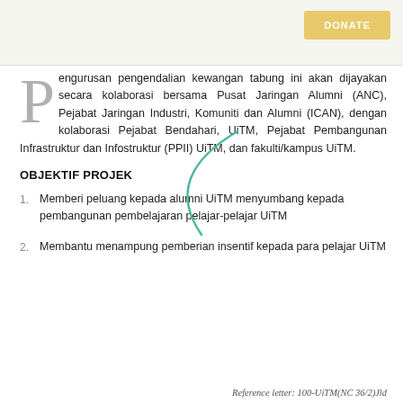[Figure (other): Top banner area with DONATE button]
Pengurusan pengendalian kewangan tabung ini akan dijayakan secara kolaborasi bersama Pusat Jaringan Alumni (ANC), Pejabat Jaringan Industri, Komuniti dan Alumni (ICAN), dengan kolaborasi Pejabat Bendahari, UiTM, Pejabat Pembangunan Infrastruktur dan Infostruktur (PPII) UiTM, dan fakulti/kampus UiTM.
OBJEKTIF PROJEK
Memberi peluang kepada alumni UiTM menyumbang kepada pembangunan pembelajaran pelajar-pelajar UiTM
Membantu menampung pemberian insentif kepada para pelajar UiTM
Reference letter: 100-UiTM(NC 36/2)Jld